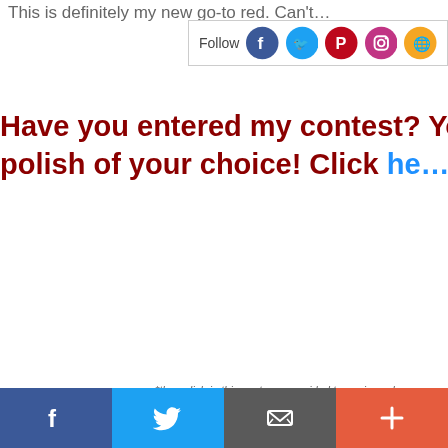This is definitely my new go-to red.  Can't…
[Figure (infographic): Social media follow widget with Follow label and icons for Facebook, Twitter, Pinterest, Instagram, RSS]
Have you entered my contest?  You could win a polish of your choice!  Click he…
*the polish in this post was provided to me in exch…
0 Comments
[Figure (infographic): Share icons: email (M), Blogger (B), Twitter (t), Facebook (f), Pinterest (circle with P)]
Labels: Cult Nails , red
Giveaway Update!
[Figure (photo): Nail polish collage showing mauve/grey nail colors]
[Figure (infographic): Social share footer bar with Facebook (blue), Twitter (light blue), Email (grey), Plus/More (orange-red) buttons]